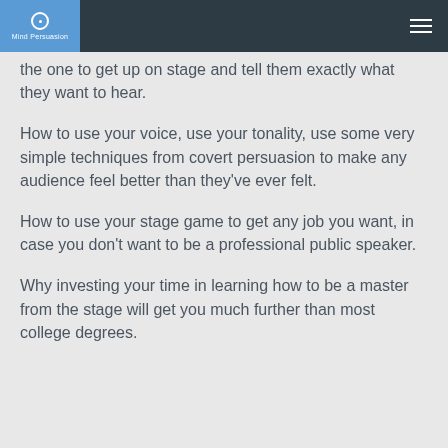Mind Persuasion
the one to get up on stage and tell them exactly what they want to hear.
How to use your voice, use your tonality, use some very simple techniques from covert persuasion to make any audience feel better than they've ever felt.
How to use your stage game to get any job you want, in case you don't want to be a professional public speaker.
Why investing your time in learning how to be a master from the stage will get you much further than most college degrees.